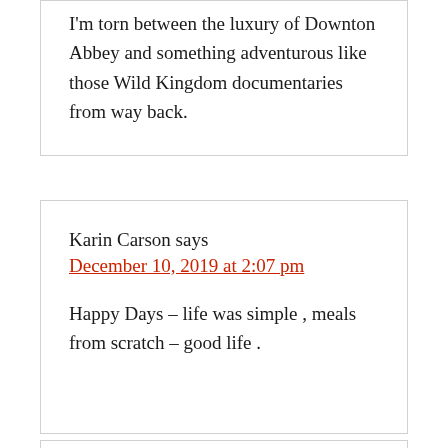I'm torn between the luxury of Downton Abbey and something adventurous like those Wild Kingdom documentaries from way back.
Karin Carson says
December 10, 2019 at 2:07 pm
Happy Days – life was simple , meals from scratch – good life .